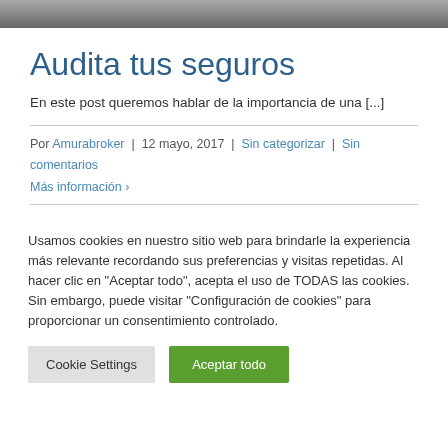[Figure (photo): Partial dark/grey image visible at the top of the page]
Audita tus seguros
En este post queremos hablar de la importancia de una [...]
Por Amurabroker | 12 mayo, 2017 | Sin categorizar | Sin comentarios
Más información ›
Usamos cookies en nuestro sitio web para brindarle la experiencia más relevante recordando sus preferencias y visitas repetidas. Al hacer clic en "Aceptar todo", acepta el uso de TODAS las cookies. Sin embargo, puede visitar "Configuración de cookies" para proporcionar un consentimiento controlado.